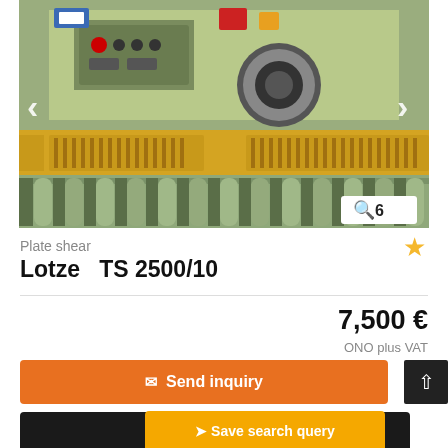[Figure (photo): Industrial plate shear machine (Lotze TS 2500/10) photographed from the front, showing yellow and green bodywork, control panel with buttons and red emergency stop, rollers/feed system at bottom. Navigation arrows on left and right. Badge showing magnifier icon and '6' in bottom right corner.]
Plate shear
Lotze  TS 2500/10
7,500 €
ONO plus VAT
✉ Send inquiry
✆ Call
➤ Save search query